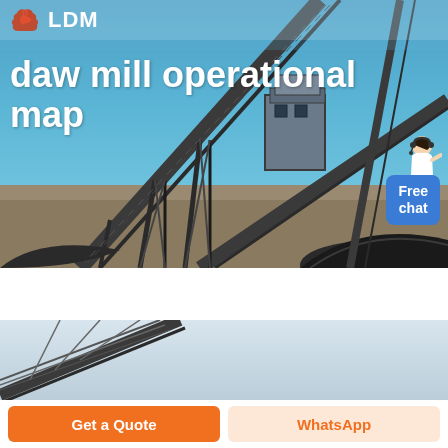[Figure (screenshot): Website screenshot showing LDM brand header with logo (orange hand icon) and 'LDM' text, over a hero image of industrial mining conveyor belt equipment at a quarry/mill site under blue sky. Title text reads 'daw mill operational map' in large white bold font. A 'Free chat' button in blue is visible in the top right area of the hero image, with a customer service agent icon above it.]
daw mill operational map
[Figure (photo): Second photo section showing industrial conveyor belt structure against a light gray/blue sky background, partially visible.]
Get a Quote
WhatsApp